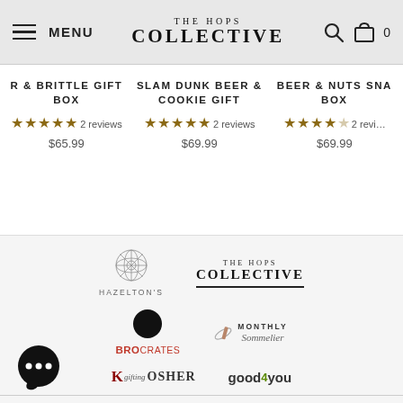MENU | THE HOPS COLLECTIVE | [search] [cart] 0
R & BRITTLE GIFT BOX — ★★★★★ 2 reviews — $65.99
SLAM DUNK BEER & COOKIE GIFT — ★★★★★ 2 reviews — $69.99
BEER & NUTS SNA BOX — ★★★★☆ 2 reviews — $69.99
[Figure (logo): Hazelton's logo with flower icon and text HAZELTON'S]
[Figure (logo): The Hops Collective footer logo]
[Figure (logo): Brocrates logo with black circle icon]
[Figure (logo): Monthly Sommelier logo]
[Figure (logo): Gifting Kosher logo]
[Figure (logo): good4you logo]
ABOUT